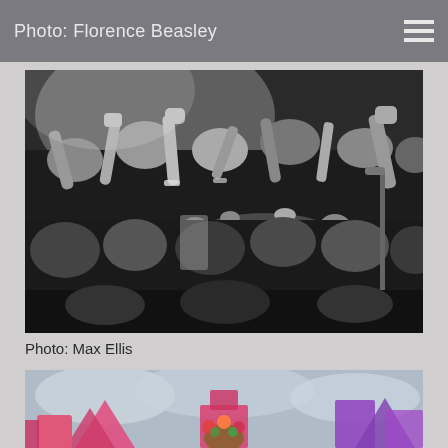Photo: Florence Beasley
[Figure (photo): Black and white concert crowd photo showing people crowd surfing and pressing towards the stage, taken by Max Ellis]
Photo: Max Ellis
[Figure (photo): Outdoor festival photo showing colorful stage decorations and a person with a flower crown, partially visible at bottom of page]